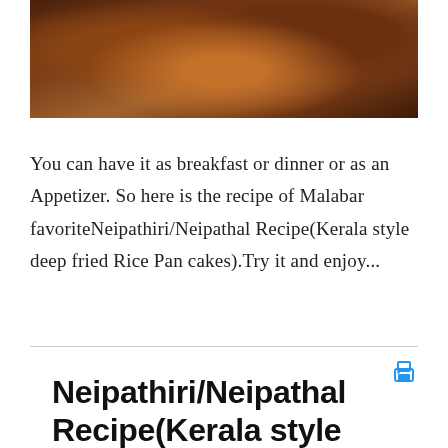[Figure (photo): Partial photo of food items in a wooden bowl or plate, with warm brown tones — likely showing fried rice pan cakes (Neipathiri/Neipathal)]
You can have it as breakfast or dinner or as an Appetizer. So here is the recipe of Malabar favoriteNeipathiri/Neipathal Recipe(Kerala style deep fried Rice Pan cakes).Try it and enjoy...
Neipathiri/Neipathal Recipe(Kerala style deep fried Rice Pan cakes)